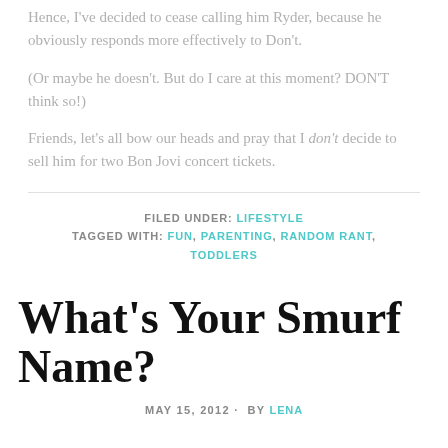Hence, I've decided to cease calling him Ryder, because he obviously responds more effectively to Don't.
(Or maybe he doesn't. But do I care at this moment? DON'T think so!)
Friends, let's all bow our heads and pray that I don't decide to sell him for two Bon Jovi concert tickets.
FILED UNDER: LIFESTYLE
TAGGED WITH: FUN, PARENTING, RANDOM RANT, TODDLERS
What's Your Smurf Name?
MAY 15, 2012 · BY LENA